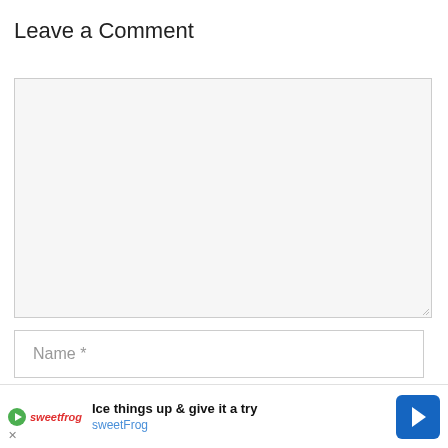Leave a Comment
[Figure (screenshot): Large empty comment text area input field with resize handle in bottom-right corner, light gray background]
Name *
Email *
This site uses cookies to ensure you get the best experience on our website More info
[Figure (screenshot): Advertisement banner: sweetFrog ice cream ad with text 'Ice things up & give it a try' and 'sweetFrog', blue arrow navigation icon on the right, close X button at bottom left]